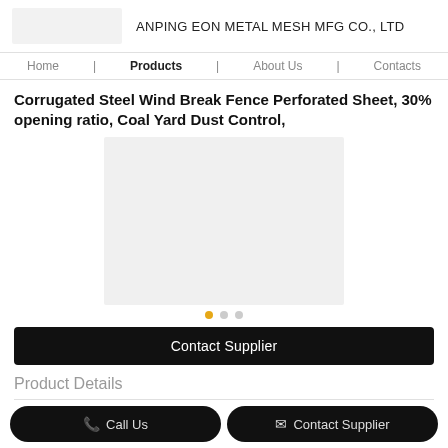ANPING EON METAL MESH MFG CO., LTD
Home | Products | About Us | Contacts
Corrugated Steel Wind Break Fence Perforated Sheet, 30% opening ratio, Coal Yard Dust Control,
[Figure (photo): Product image placeholder – light grey square representing the corrugated steel wind break fence perforated sheet]
Contact Supplier
Product Details
Call Us
Contact Supplier